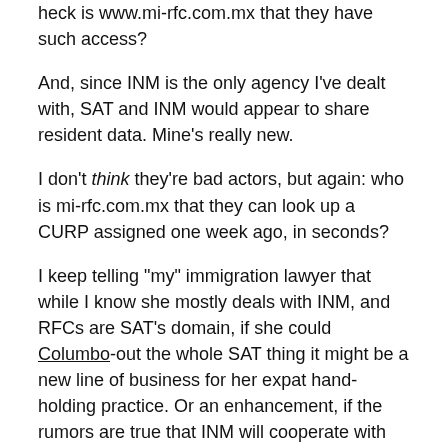heck is www.mi-rfc.com.mx that they have such access?
And, since INM is the only agency I've dealt with, SAT and INM would appear to share resident data. Mine's really new.
I don't think they're bad actors, but again: who is mi-rfc.com.mx that they can look up a CURP assigned one week ago, in seconds?
I keep telling "my" immigration lawyer that while I know she mostly deals with INM, and RFCs are SAT's domain, if she could Columbo-out the whole SAT thing it might be a new line of business for her expat hand-holding practice. Or an enhancement, if the rumors are true that INM will cooperate with SAT to assign RFCs to virgin residentes. I mean, it only makes sense.
Her replies are very consistent. "You don't understand. These are two unrelated agencies, so it is impossible. Anyone who says this is lying."
Well all-righty then, Señora Abogada. Whatevs.
Unless I miss my guess -- and I well might -- it appears that a